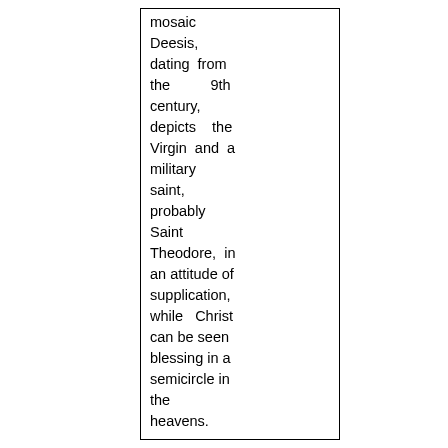mosaic Deesis, dating from the 9th century, depicts the Virgin and a military saint, probably Saint Theodore, in an attitude of supplication, while Christ can be seen blessing in a semicircle in the heavens.
Fragments of two more mosaics survived the fire of 1917 and, having